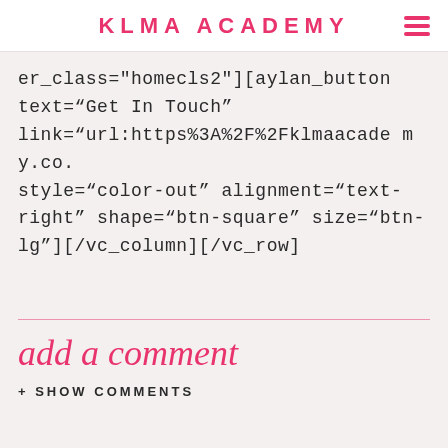KLMA ACADEMY
er_class="homecls2"][aylan_button text="Get In Touch" link="url:https%3A%2F%2Fklmaacademy.co. style="color-out" alignment="text-right" shape="btn-square" size="btn-lg"][/vc_column][/vc_row]
add a comment
+ SHOW COMMENTS